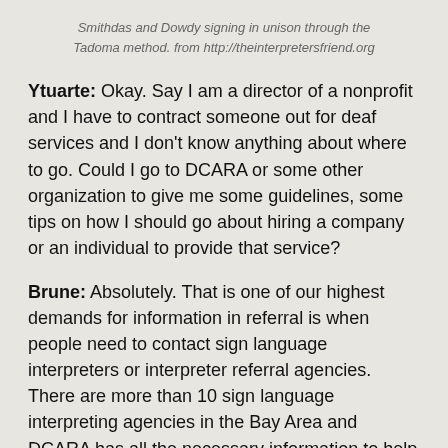Smithdas and Dowdy signing in unison through the Tadoma method. from http://theinterpretersfriend.org
Ytuarte: Okay. Say I am a director of a nonprofit and I have to contract someone out for deaf services and I don't know anything about where to go. Could I go to DCARA or some other organization to give me some guidelines, some tips on how I should go about hiring a company or an individual to provide that service?
Brune: Absolutely. That is one of our highest demands for information in referral is when people need to contact sign language interpreters or interpreter referral agencies. There are more than 10 sign language interpreting agencies in the Bay Area and DCARA has all the necessary information to help you select an agency that will help get you in the